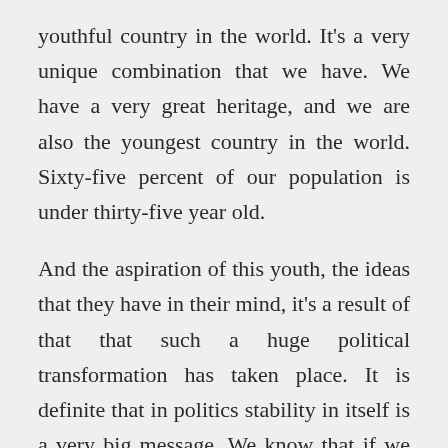youthful country in the world. It's a very unique combination that we have. We have a very great heritage, and we are also the youngest country in the world. Sixty-five percent of our population is under thirty-five year old.
And the aspiration of this youth, the ideas that they have in their mind, it's a result of that that such a huge political transformation has taken place. It is definite that in politics stability in itself is a very big message. We know that if we have stability, a common man will have confidence that now something will go on the basis of the policies and laws and we'll be OK.
So by taking a decision to follow the policies, we